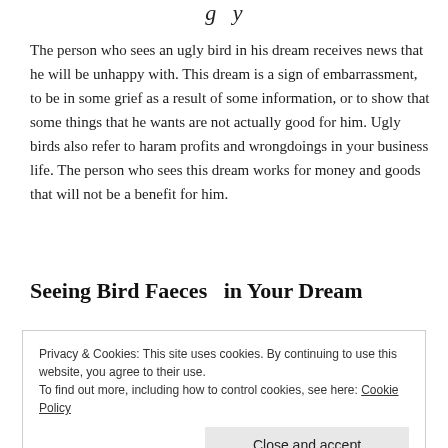g y
The person who sees an ugly bird in his dream receives news that he will be unhappy with. This dream is a sign of embarrassment, to be in some grief as a result of some information, or to show that some things that he wants are not actually good for him. Ugly birds also refer to haram profits and wrongdoings in your business life. The person who sees this dream works for money and goods that will not be a benefit for him.
Seeing Bird Faeces  in Your Dream
Privacy & Cookies: This site uses cookies. By continuing to use this website, you agree to their use.
To find out more, including how to control cookies, see here: Cookie Policy
Close and accept